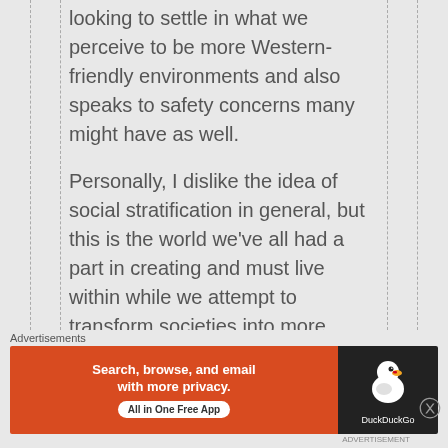looking to settle in what we perceive to be more Western-friendly environments and also speaks to safety concerns many might have as well.
Personally, I dislike the idea of social stratification in general, but this is the world we've all had a part in creating and must live within while we attempt to transform societies into more equitable places for all.
Thanks again for your
Advertisements
[Figure (other): DuckDuckGo advertisement banner. Left side orange background with white bold text: 'Search, browse, and email with more privacy.' and white pill button 'All in One Free App'. Right side dark background with DuckDuckGo duck logo and 'DuckDuckGo' text.]